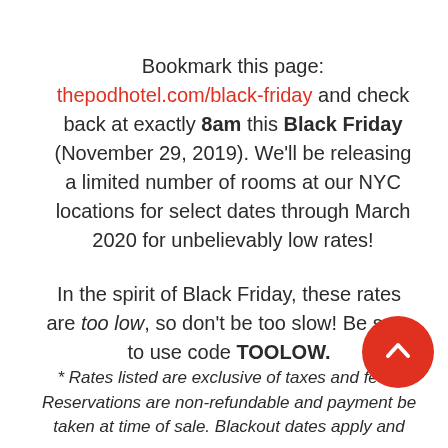Bookmark this page: thepodhotel.com/black-friday and check back at exactly 8am this Black Friday (November 29, 2019). We'll be releasing a limited number of rooms at our NYC locations for select dates through March 2020 for unbelievably low rates!
In the spirit of Black Friday, these rates are too low, so don't be too slow! Be sure to use code TOOLOW.
* Rates listed are exclusive of taxes and fees. Reservations are non-refundable and payment will be taken at time of sale. Blackout dates apply and room inventory is limited. Available for direct bookings via